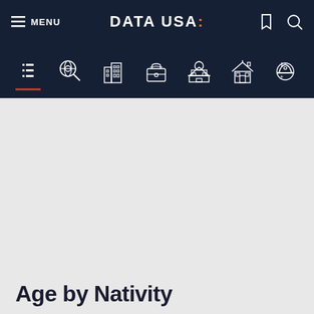MENU | DATA USA: | [cart icon] [search icon]
[Figure (screenshot): Data USA navigation icon bar with 7 category icons: list/menu, search/globe, buildings/city, briefcase, government building with dome, house, hard hat worker]
Age by Nativity